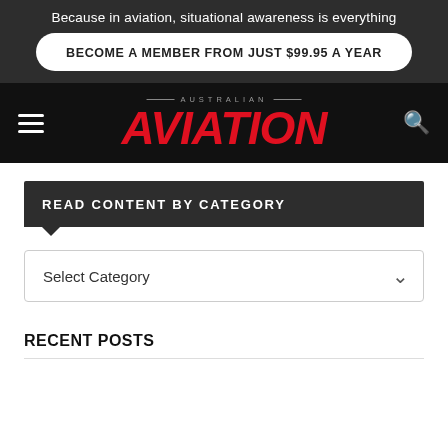Because in aviation, situational awareness is everything
BECOME A MEMBER FROM JUST $99.95 A YEAR
[Figure (logo): Australian Aviation logo — AUSTRALIAN in small caps above large italic red AVIATION text on black background]
READ CONTENT BY CATEGORY
Select Category
RECENT POSTS